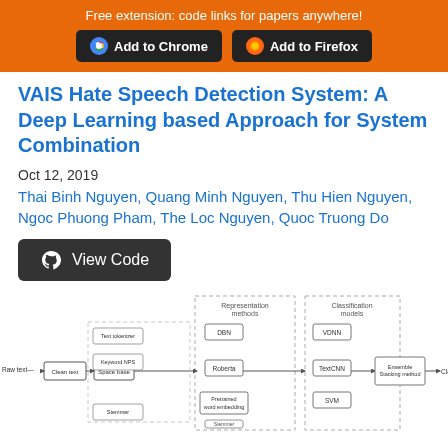Free extension: code links for papers anywhere!
VAIS Hate Speech Detection System: A Deep Learning based Approach for System Combination
Oct 12, 2019
Thai Binh Nguyen, Quang Minh Nguyen, Thu Hien Nguyen, Ngoc Phuong Pham, The Loc Nguyen, Quoc Truong Do
View Code
[Figure (flowchart): Flowchart diagram showing pipeline: Raw text -> Clean text -> Space base -> Representation methods (DBN, Roberta, Pretrained word embedding, ...) -> Classification models (VDNN, TextCNN, SVM, ...) -> Ensemble Stacking method -> Class. Also shows: Text tokenizer, Keyword NPS, Stemmer as preprocessing steps.]